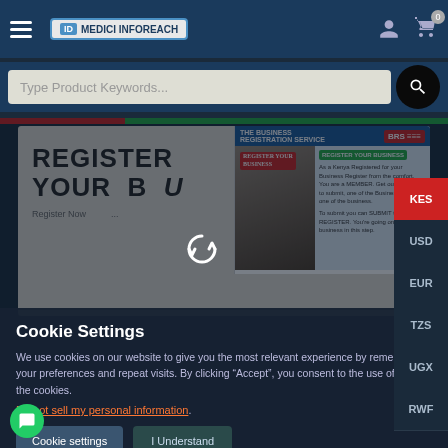MediciInforeach website navigation bar with hamburger menu, logo, user icon, cart icon (0)
Type Product Keywords...
[Figure (screenshot): Banner reading REGISTER YOUR B U with BRS (Business Registration Service) promotional box on the right]
Cookie Settings
We use cookies on our website to give you the most relevant experience by remembering your preferences and repeat visits. By clicking "Accept", you consent to the use of ALL the cookies.
Do not sell my personal information.
Cookie settings   I Understand
KES
USD
EUR
TZS
UGX
RWF